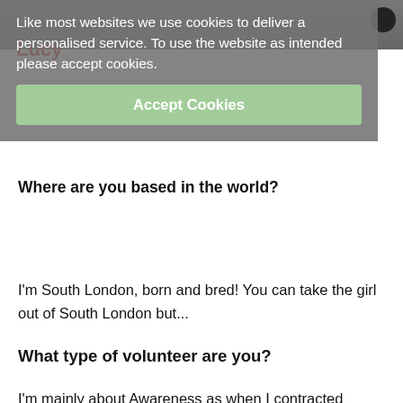[Figure (photo): Top portion of a webpage showing a photo at the top, partially cut off]
Lucy
Like most websites we use cookies to deliver a personalised service. To use the website as intended please accept cookies.
Accept Cookies
Where are you based in the world?
I'm South London, born and bred! You can take the girl out of South London but...
What type of volunteer are you?
I'm mainly about Awareness as when I contracted encephalitis back in 2006, it was unheard of. The more people who know about encephalitis, the better! If I can build the profile & share Information I'll do it. I love to go to events & either help out on any of the stands or just be a representative who can talk with & offer Support to other survivors. It's important for me to be able to share experiences with their friends and